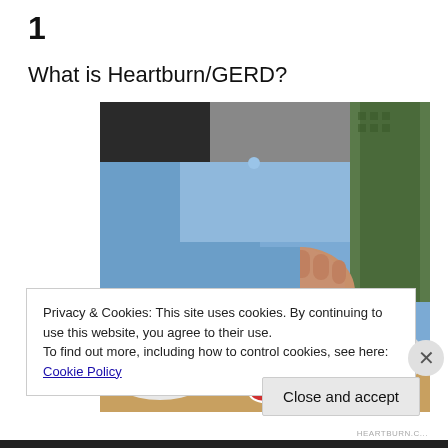1
What is Heartburn/GERD?
[Figure (photo): Person in a blue dress shirt clutching their chest/stomach area with a fist, sitting at a table. A white mug and two red-and-white peppermint candies are visible on the table. A green patterned tie is partially visible.]
Privacy & Cookies: This site uses cookies. By continuing to use this website, you agree to their use.
To find out more, including how to control cookies, see here: Cookie Policy
Close and accept